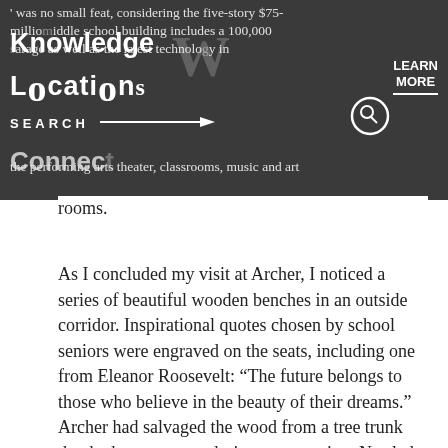[Figure (screenshot): Dark navigation header bar with overlaid nav elements: Knowledge, Location, Search (with arrow), Connect, Learn More link, search icon circle. Partially visible body text about a five-story $75-million middle school building with 100,000 sq ft garage and technology in the performing arts theater, classrooms, music and art rooms.]
rooms.
As I concluded my visit at Archer, I noticed a series of beautiful wooden benches in an outside corridor. Inspirational quotes chosen by school seniors were engraved on the seats, including one from Eleanor Roosevelt: “The future belongs to those who believe in the beauty of their dreams.” Archer had salvaged the wood from a tree trunk that had to come out during construction. Nestled between the historical building and new facility, the benches are a reminder for students to remember history while looking toward the future. With planning, monitoring, care and communication, school construction projects can themselves be a story to remember fondly, while resulting in improved facilities for the next generation